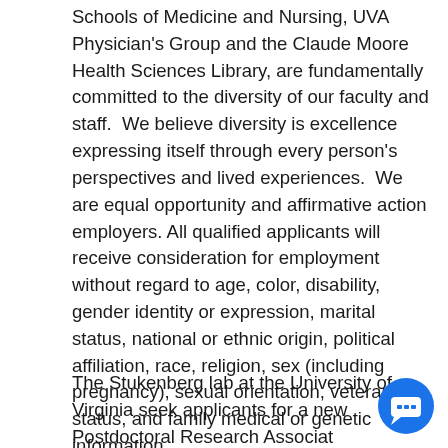Schools of Medicine and Nursing, UVA Physician's Group and the Claude Moore Health Sciences Library, are fundamentally committed to the diversity of our faculty and staff.  We believe diversity is excellence expressing itself through every person's perspectives and lived experiences.  We are equal opportunity and affirmative action employers. All qualified applicants will receive consideration for employment without regard to age, color, disability, gender identity or expression, marital status, national or ethnic origin, political affiliation, race, religion, sex (including pregnancy), sexual orientation, veteran status, and family medical or genetic information.
The Stukenberg lab at the University of Virginia seeks applicants for a new Postdoctoral Research Associate position. The focus is onigh-frequency gene expression and...